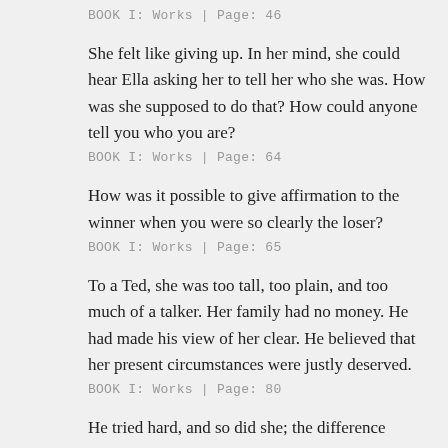BOOK I: Works | Page: 46
She felt like giving up. In her mind, she could hear Ella asking her to tell her who she was. How was she supposed to do that? How could anyone tell you who you are?
BOOK I: Works | Page: 64
How was it possible to give affirmation to the winner when you were so clearly the loser?
BOOK I: Works | Page: 65
To a Ted, she was too tall, too plain, and too much of a talker. Her family had no money. He had made his view of her clear. He believed that her present circumstances were justly deserved.
BOOK I: Works | Page: 80
He tried hard, and so did she; the difference between them was that he'd already figured out what he wanted in this life—money, status, and power—and she wasn't so sure about the things she wanted, preferring pride, control, and influence. Yet what each sought was